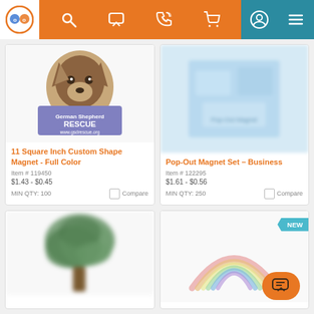Navigation bar with logo, search, chat, phone, cart icons (orange background), and profile/menu icons (teal background)
[Figure (photo): German Shepherd Rescue magnet product image showing a German Shepherd dog illustration with 'German Shepherd RESCUE www.gsdrescue.org' label]
11 Square Inch Custom Shape Magnet - Full Color
Item # 119450
$1.43 - $0.45
MIN QTY: 100
Compare
[Figure (photo): Pop-Out Magnet Set Business product - blurred image with light blue background]
Pop-Out Magnet Set – Business
Item # 122295
$1.61 - $0.56
MIN QTY: 250
Compare
[Figure (photo): Blurred green tree/nature shaped magnet product image]
[Figure (photo): Rainbow shaped magnet - NEW product, with colorful pastel rainbow arc image. NEW badge visible in top right corner.]